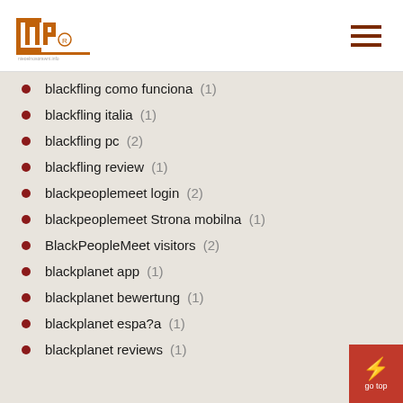INP logo and navigation
blackfling como funciona (1)
blackfling italia (1)
blackfling pc (2)
blackfling review (1)
blackpeoplemeet login (2)
blackpeoplemeet Strona mobilna (1)
BlackPeopleMeet visitors (2)
blackplanet app (1)
blackplanet bewertung (1)
blackplanet espa?a (1)
blackplanet reviews (1)